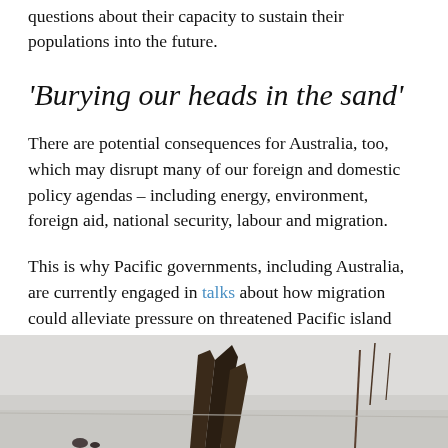questions about their capacity to sustain their populations into the future.
‘Burying our heads in the sand’
There are potential consequences for Australia, too, which may disrupt many of our foreign and domestic policy agendas – including energy, environment, foreign aid, national security, labour and migration.
This is why Pacific governments, including Australia, are currently engaged in talks about how migration could alleviate pressure on threatened Pacific island nations and become a climate change adaptation strategy.
[Figure (photo): Partial view of a photo showing what appears to be a sculpture or monument against a pale sky, with bare tree branches visible on the right edge. The image is cropped at the bottom of the page.]